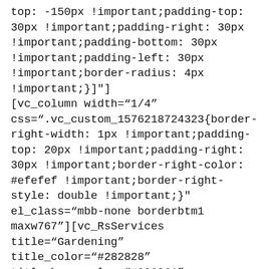top: -150px !important;padding-top: 30px !important;padding-right: 30px !important;padding-bottom: 30px !important;padding-left: 30px !important;border-radius: 4px !important;}"] [vc_column width="1/4" css=".vc_custom_1576218724323{border-right-width: 1px !important;padding-top: 20px !important;padding-right: 30px !important;border-right-color: #efefef !important;border-right-style: double !important;}" el_class="mbb-none borderbtm1 maxw767"][vc_RsServices title="Gardening" title_color="#282828" title_hovercolor="#009961" desc_color="#646464" screenshots="5800" align="center" img_align="center" title_size="24px" button_link="url:%23|||"